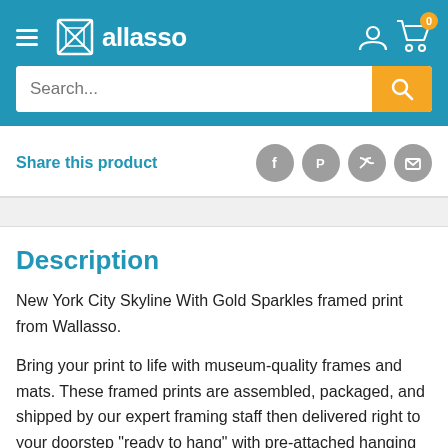[Figure (screenshot): Wallasso website header with logo, hamburger menu, user and cart icons on blue background, and search bar]
Share this product
[Figure (infographic): Social share icons: Facebook, Pinterest, Twitter, Email]
Description
New York City Skyline With Gold Sparkles framed print from Wallasso.
Bring your print to life with museum-quality frames and mats. These framed prints are assembled, packaged, and shipped by our expert framing staff then delivered right to your doorstep "ready to hang" with pre-attached hanging wire, mounting hooks, and nails. Stylish